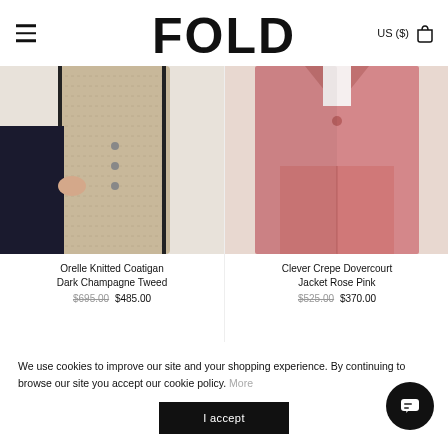FOLD  US ($)
[Figure (photo): Orelle Knitted Coatigan in Dark Champagne Tweed — cropped view of a woman wearing dark trousers and a beige/champagne knitted coatigan with black trim]
Orelle Knitted Coatigan Dark Champagne Tweed
$695.00 $485.00
[Figure (photo): Clever Crepe Dovercourt Jacket in Rose Pink — cropped view of a woman in rose pink tailored trousers and matching jacket]
Clever Crepe Dovercourt Jacket Rose Pink
$525.00 $370.00
We use cookies to improve our site and your shopping experience. By continuing to browse our site you accept our cookie policy. More
I accept